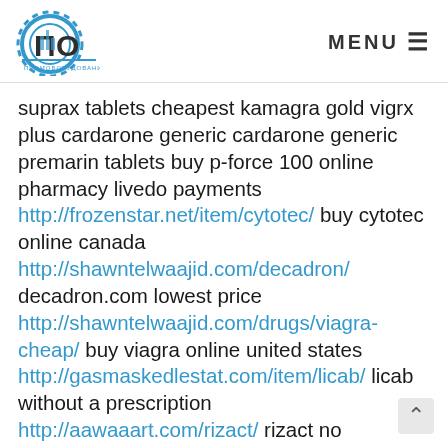ПО ПРОМОБОРУДОВАНИЕ — MENU
suprax tablets cheapest kamagra gold vigrx plus cardarone generic cardarone generic premarin tablets buy p-force 100 online pharmacy livedo payments http://frozenstar.net/item/cytotec/ buy cytotec online canada http://shawntelwaajid.com/decadron/ decadron.com lowest price http://shawntelwaajid.com/drugs/viagra-cheap/ buy viagra online united states http://gasmaskedlestat.com/item/licab/ licab without a prescription http://aawaaart.com/rizact/ rizact no prescription http://shawntelwaajid.com/danocrine/ danocrine http://umichicago.com/midamor/ midamor online http://globallifefoundation.org/rotahaler/